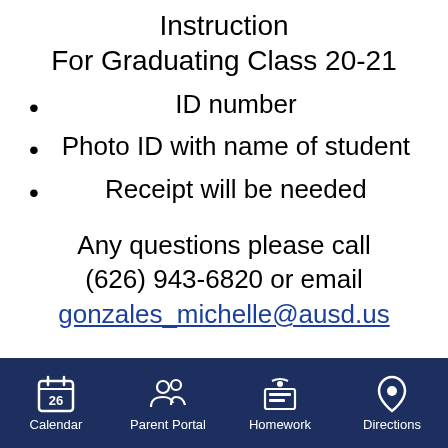Instruction
For Graduating Class 20-21
ID number
Photo ID with name of student
Receipt will be needed
Any questions please call (626) 943-6820 or email
gonzales_michelle@ausd.us
Calendar  Parent Portal  Homework  Directions